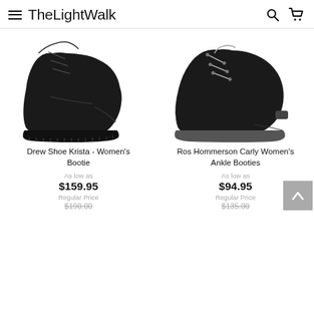TheLightWalk
[Figure (photo): Drew Shoe Krista - Women's Bootie, black leather lace-up ankle boot with lug sole]
Drew Shoe Krista - Women's Bootie
As low as
$159.95
Regular Price
$190.00
[Figure (photo): Ros Hommerson Carly Women's Ankle Booties, black suede lace-up ankle bootie with rounded toe]
Ros Hommerson Carly Women's Ankle Booties
As low as
$94.95
Regular Price
$135.00